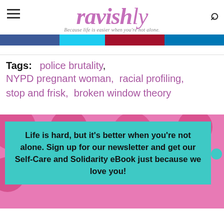ravishly — Because life is easier when you're not alone.
[Figure (other): Social share bar with Facebook, Twitter, Pinterest, and LinkedIn buttons]
Tags:  police brutality,  NYPD pregnant woman,  racial profiling,  stop and frisk,  broken window theory
[Figure (infographic): Teal promotional box over pink floral background with text: Life is hard, but it's better when you're not alone. Sign up for our newsletter and get our Self-Care and Solidarity eBook just because we love you!]